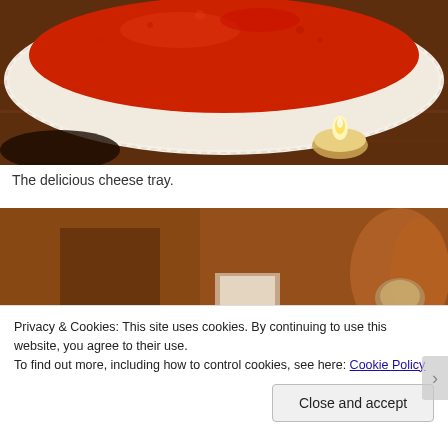[Figure (photo): Close-up photo of a red cheese/food item on a white doily on a wooden table, with a small candle holder visible in the background]
The delicious cheese tray.
[Figure (photo): Blurred photo of a wooden interior room with warm lighting and what appears to be furniture]
Privacy & Cookies: This site uses cookies. By continuing to use this website, you agree to their use.
To find out more, including how to control cookies, see here: Cookie Policy
Close and accept